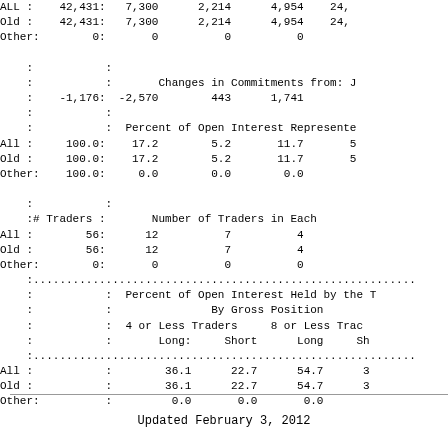| Category | Open Interest | NonComm Long | NonComm Short | NonComm Spreading | Comm Long |
| --- | --- | --- | --- | --- | --- |
| All | 42,431: | 7,300 | 2,214 | 4,954 | 24,... |
| Old | 42,431: | 7,300 | 2,214 | 4,954 | 24,... |
| Other: | 0: | 0 | 0 | 0 |  |
|  |  | Changes in Commitments from: J |  |  |  |
|  | -1,176: | -2,570 | 443 | 1,741 |  |
|  |  | Percent of Open Interest Represented |  |  |  |
| All | 100.0: | 17.2 | 5.2 | 11.7 | 5... |
| Old | 100.0: | 17.2 | 5.2 | 11.7 | 5... |
| Other: | 100.0: | 0.0 | 0.0 | 0.0 |  |
|  | # Traders : |  | Number of Traders in Each |  |  |
| All | 56: | 12 | 7 | 4 |  |
| Old | 56: | 12 | 7 | 4 |  |
| Other: | 0: | 0 | 0 | 0 |  |
|  |  | Percent of Open Interest Held by the T |  |  |  |
|  |  | By Gross Position |  |  |  |
|  |  | 4 or Less Traders |  | 8 or Less Trad... |  |
|  |  | Long: | Short | Long | Sh... |
| All |  | 36.1 | 22.7 | 54.7 | 3... |
| Old |  | 36.1 | 22.7 | 54.7 | 3... |
| Other: |  | 0.0 | 0.0 | 0.0 |  |
Updated February 3, 2012